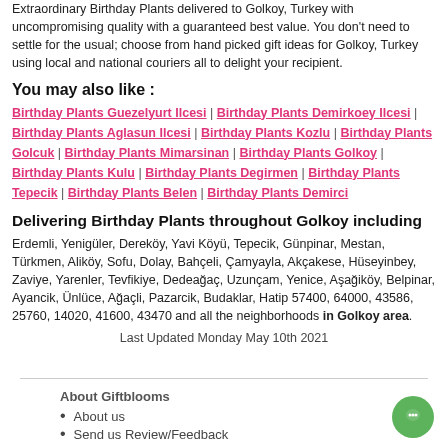Extraordinary Birthday Plants delivered to Golkoy, Turkey with uncompromising quality with a guaranteed best value. You don't need to settle for the usual; choose from hand picked gift ideas for Golkoy, Turkey using local and national couriers all to delight your recipient.
You may also like :
Birthday Plants Guezelyurt Ilcesi | Birthday Plants Demirkoey Ilcesi | Birthday Plants Aglasun Ilcesi | Birthday Plants Kozlu | Birthday Plants Golcuk | Birthday Plants Mimarsinan | Birthday Plants Golkoy | Birthday Plants Kulu | Birthday Plants Degirmen | Birthday Plants Tepecik | Birthday Plants Belen | Birthday Plants Demirci
Delivering Birthday Plants throughout Golkoy including
Erdemli, Yenigüler, Dereköy, Yavi Köyü, Tepecik, Günpinar, Mestan, Türkmen, Aliköy, Sofu, Dolay, Bahçeli, Çamyayla, Akçakese, Hüseyinbey, Zaviye, Yarenler, Tevfikiye, Dedeağaç, Uzunçam, Yenice, Aşağiköy, Belpinar, Ayancik, Ünlüce, Ağaçli, Pazarcik, Budaklar, Hatip 57400, 64000, 43586, 25760, 14020, 41600, 43470 and all the neighborhoods in Golkoy area.
Last Updated Monday May 10th 2021
About Giftblooms
About us
Send us Review/Feedback